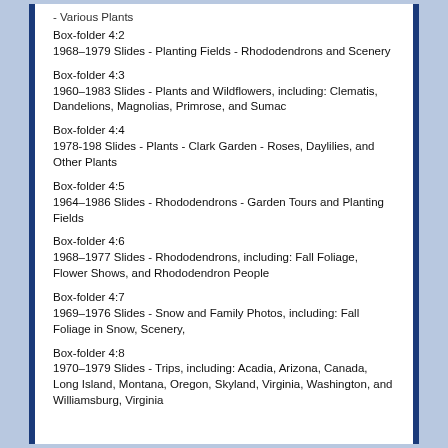Box-folder 4:2
1968–1979 Slides - Planting Fields - Rhododendrons and Scenery
Box-folder 4:3
1960–1983 Slides - Plants and Wildflowers, including: Clematis, Dandelions, Magnolias, Primrose, and Sumac
Box-folder 4:4
1978-198 Slides - Plants - Clark Garden - Roses, Daylilies, and Other Plants
Box-folder 4:5
1964–1986 Slides - Rhododendrons - Garden Tours and Planting Fields
Box-folder 4:6
1968–1977 Slides - Rhododendrons, including: Fall Foliage, Flower Shows, and Rhododendron People
Box-folder 4:7
1969–1976 Slides - Snow and Family Photos, including: Fall Foliage in Snow, Scenery,
Box-folder 4:8
1970–1979 Slides - Trips, including: Acadia, Arizona, Canada, Long Island, Montana, Oregon, Skyland, Virginia, Washington, and Williamsburg, Virginia